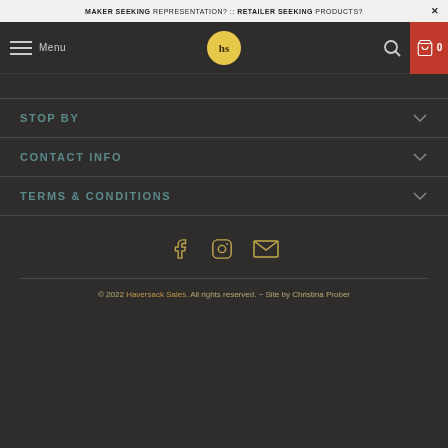MAKER SEEKING REPRESENTATION? :: RETAILER SEEKING PRODUCTS? ×
[Figure (logo): Haversack Sales navigation bar with hamburger menu, hs logo circle, search icon, and cart icon showing 0]
STOP BY
CONTACT INFO
TERMS & CONDITIONS
[Figure (infographic): Social media icons: Facebook, Instagram, Email]
© 2022 Haversack Sales. All rights reserved. ~ Site by Christina Prober